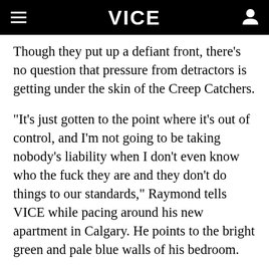VICE
Though they put up a defiant front, there's no question that pressure from detractors is getting under the skin of the Creep Catchers.
"It's just gotten to the point where it's out of control, and I'm not going to be taking nobody's liability when I don't even know who the fuck they are and they don't do things to our standards," Raymond tells VICE while pacing around his new apartment in Calgary. He points to the bright green and pale blue walls of his bedroom.
"It looks like a fucking kid's room," he says, but